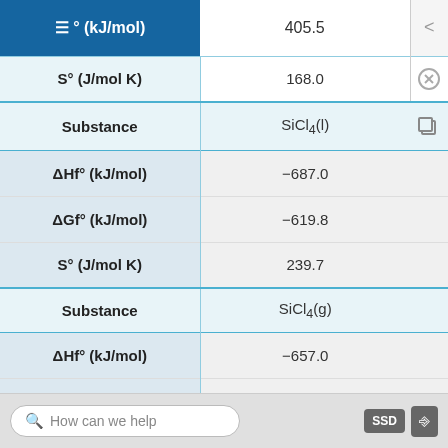| Property | Value |
| --- | --- |
| ΔGf° (kJ/mol) | 405.5 |
| S° (J/mol K) | 168.0 |
| Substance | SiCl4(l) |
| ΔHf° (kJ/mol) | −687.0 |
| ΔGf° (kJ/mol) | −619.8 |
| S° (J/mol K) | 239.7 |
| Substance | SiCl4(g) |
| ΔHf° (kJ/mol) | −657.0 |
| ΔGf° (kJ/mol) | −617.0 |
| S° (J/mol K) | 330.7 |